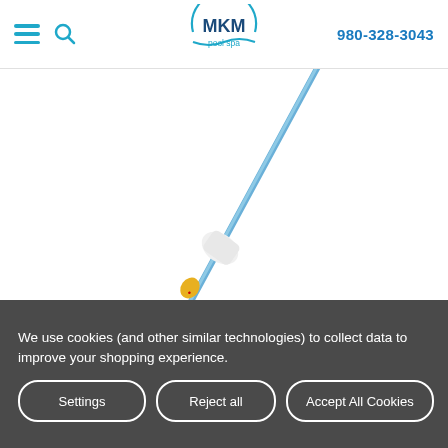MKM pool spa — 980-328-3043
[Figure (photo): Product photo of a telescoping pool cleaning pole shown diagonally extended, with a white connector/joint piece and a logo sticker near the bottom end. Beside it stands the product box packaging — a tall narrow blue box with green and colorful label graphics showing pool cleaning usage.]
We use cookies (and other similar technologies) to collect data to improve your shopping experience.
Settings  Reject all  Accept All Cookies